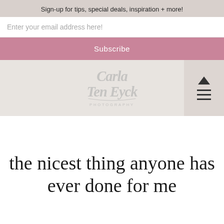Sign-up for tips, special deals, inspiration + more!
Enter your email address here!
Subscribe
[Figure (logo): Carla Ten Eyck photography script logo in light gray]
the nicest thing anyone has ever done for me